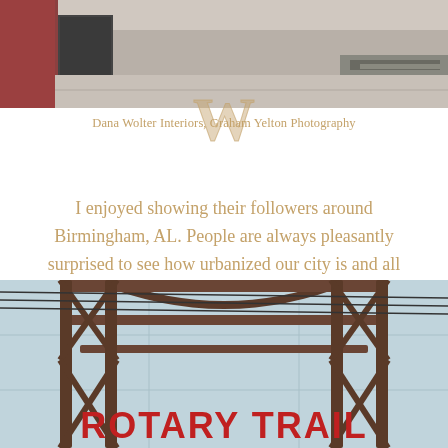[Figure (photo): Top portion of a street scene photo showing brick sidewalk and building exterior in Birmingham, AL, partially cropped]
Dana Wolter Interiors, Graham Yelton Photography
I enjoyed showing their followers around Birmingham, AL. People are always pleasantly surprised to see how urbanized our city is and all that it offers in the Deep South.
[Figure (photo): Bottom photo showing the Rotary Trail arch sign in Birmingham, AL, with red lettering reading ROTARY TRAIL against a light blue building background, the ornate metal archway visible]